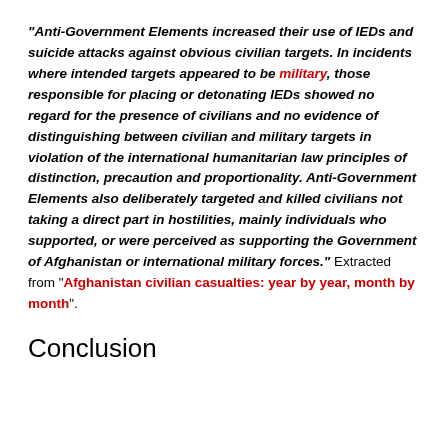“Anti-Government Elements increased their use of IEDs and suicide attacks against obvious civilian targets. In incidents where intended targets appeared to be military, those responsible for placing or detonating IEDs showed no regard for the presence of civilians and no evidence of distinguishing between civilian and military targets in violation of the international humanitarian law principles of distinction, precaution and proportionality. Anti-Government Elements also deliberately targeted and killed civilians not taking a direct part in hostilities, mainly individuals who supported, or were perceived as supporting the Government of Afghanistan or international military forces.” Extracted from “Afghanistan civilian casualties: year by year, month by month”.
Conclusion